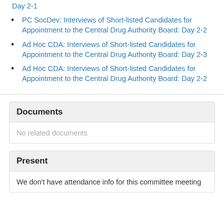Day 2-1
PC SocDev: Interviews of Short-listed Candidates for Appointment to the Central Drug Authority Board: Day 2-2
Ad Hoc CDA: Interviews of Short-listed Candidates for Appointment to the Central Drug Authority Board: Day 2-3
Ad Hoc CDA: Interviews of Short-listed Candidates for Appointment to the Central Drug Authority Board: Day 2-2
Documents
No related documents
Present
We don't have attendance info for this committee meeting